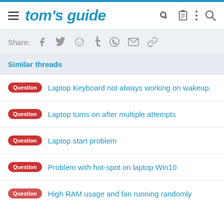tom's guide
Share:
Similar threads
Question  Laptop Keyboard not always working on wakeup.
Question  Laptop turns on after multiple attempts
Question  Laptop start problem
Question  Problem with hot-spot on laptop Win10
Question  High RAM usage and fan running randomly